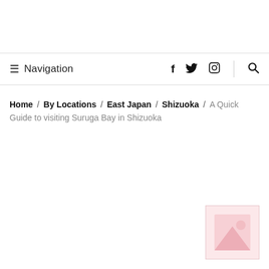≡ Navigation  f  🐦  📷  🔍
Home / By Locations / East Japan / Shizuoka / A Quick Guide to visiting Suruga Bay in Shizuoka